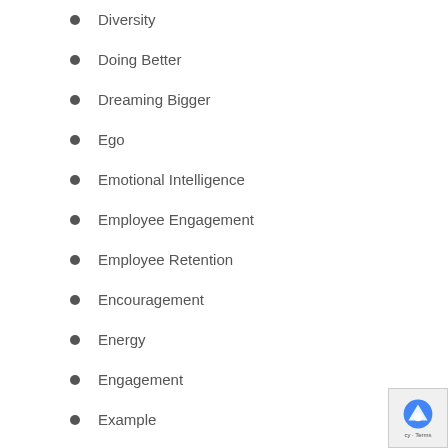Diversity
Doing Better
Dreaming Bigger
Ego
Emotional Intelligence
Employee Engagement
Employee Retention
Encouragement
Energy
Engagement
Example
Excellence
Executive Presence